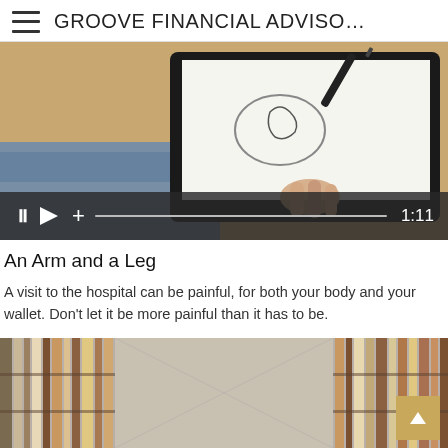GROOVE FINANCIAL ADVISO…
[Figure (screenshot): Video thumbnail showing a hand holding a tablet with someone writing; video controls bar shows pause, play, plus icons, a progress bar, and time 1:11]
An Arm and a Leg
A visit to the hospital can be painful, for both your body and your wallet. Don't let it be more painful than it has to be.
[Figure (photo): Photo of a library aisle with bookshelves on both sides; a gold/tan scroll-to-top button with an upward arrow is visible in the bottom right corner]